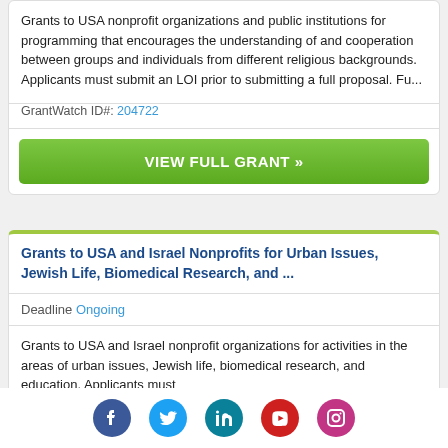Grants to USA nonprofit organizations and public institutions for programming that encourages the understanding of and cooperation between groups and individuals from different religious backgrounds. Applicants must submit an LOI prior to submitting a full proposal. Fu...
GrantWatch ID#: 204722
VIEW FULL GRANT »
Grants to USA and Israel Nonprofits for Urban Issues, Jewish Life, Biomedical Research, and ...
Deadline Ongoing
Grants to USA and Israel nonprofit organizations for activities in the areas of urban issues, Jewish life, biomedical research, and education. Applicants must
Social media icons: Facebook, Twitter, LinkedIn, YouTube, Instagram